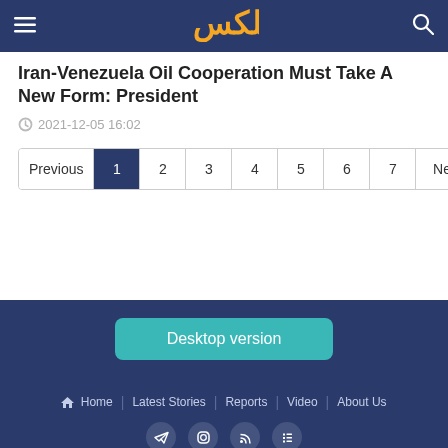☰  [logo]  🔍
Iran-Venezuela Oil Cooperation Must Take A New Form: President
2021-12-05 16:02
Previous  1  2  3  4  5  6  7  Next
Desktop version
Home  |  Latest Stories  |  Reports  |  Video  |  About Us
© 2019 Shana News Agency. All rights reserved